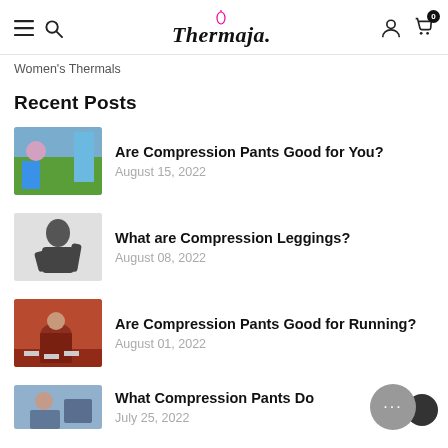Thermaja — navigation header with menu, search, logo, account, cart (0)
Women's Thermals
Recent Posts
Are Compression Pants Good for You? — August 15, 2022
What are Compression Leggings? — August 08, 2022
Are Compression Pants Good for Running? — August 01, 2022
What Compression Pants Do — July 25, 2022